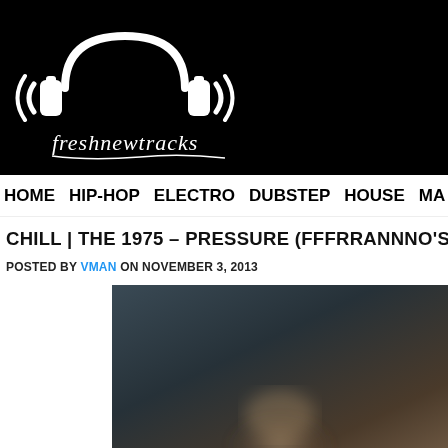[Figure (logo): freshneutracks website logo: white headphones with sound waves on black background, with cursive 'freshnewtracks' text below]
HOME  HIP-HOP  ELECTRO  DUBSTEP  HOUSE  MA...
CHILL | THE 1975 – PRESSURE (FFFRRANNNO'S BIRTHD...
POSTED BY VMAN ON NOVEMBER 3, 2013
[Figure (photo): Blurry dark atmospheric photo, partially visible, dark teal and brown tones with a blurred subject in the lower center]